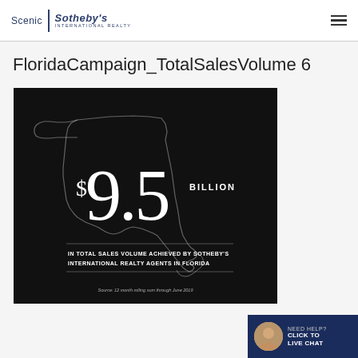Scenic | Sotheby's International Realty
FloridaCampaign_TotalSalesVolume 6
[Figure (infographic): Dark background infographic showing $9.5 BILLION in total sales volume achieved by Sotheby's International Realty agents in Florida, with a white outline of the state of Florida. Source: 12 month rolling sum through June 2019.]